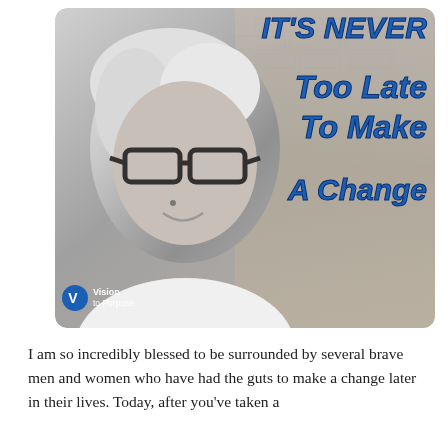[Figure (photo): Black and white photo of a smiling older woman with white hair and dark-rimmed glasses, against a brick wall background. Overlaid with bold blue italic text reading 'IT'S NEVER TOO LATE TO MAKE A CHANGE'. Vision to Purpose logo in bottom left corner of image.]
I am so incredibly blessed to be surrounded by several brave men and women who have had the guts to make a change later in their lives. Today, after you've taken a